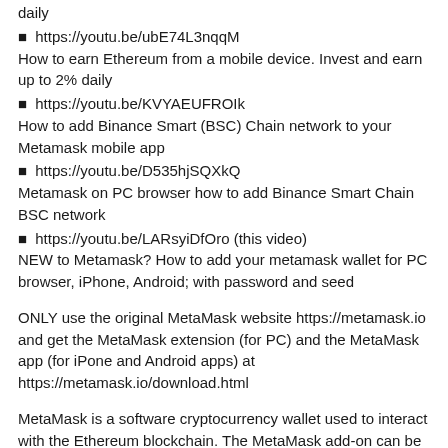daily
■ https://youtu.be/ubE74L3nqqM
How to earn Ethereum from a mobile device. Invest and earn up to 2% daily
■ https://youtu.be/KVYAEUFROIk
How to add Binance Smart (BSC) Chain network to your Metamask mobile app
■ https://youtu.be/D535hjSQXkQ
Metamask on PC browser how to add Binance Smart Chain BSC network
■ https://youtu.be/LARsyiDfOro (this video)
NEW to Metamask? How to add your metamask wallet for PC browser, iPhone, Android; with password and seed
ONLY use the original MetaMask website https://metamask.io and get the MetaMask extension (for PC) and the MetaMask app (for iPone and Android apps) at https://metamask.io/download.html
MetaMask is a software cryptocurrency wallet used to interact with the Ethereum blockchain. The MetaMask add-on can be installed as a Chrome browser extension or for